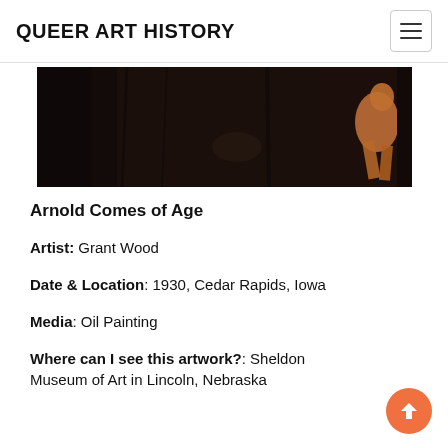QUEER ART HISTORY
[Figure (photo): Dark painting detail showing a figure bending over in a dark forest/woodland scene, with warm brown/orange tones against a very dark background. Partial view of 'Arnold Comes of Age' by Grant Wood.]
Arnold Comes of Age
Artist: Grant Wood
Date & Location: 1930, Cedar Rapids, Iowa
Media: Oil Painting
Where can I see this artwork?: Sheldon Museum of Art in Lincoln, Nebraska